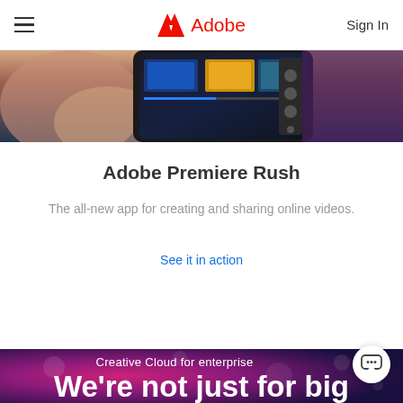Adobe
[Figure (photo): Hands holding a smartphone displaying Adobe Premiere Rush app interface with video editing timeline]
Adobe Premiere Rush
The all-new app for creating and sharing online videos.
See it in action
[Figure (photo): Purple and pink bokeh background for Creative Cloud for enterprise section with chat button overlay]
Creative Cloud for enterprise
We're not just for big